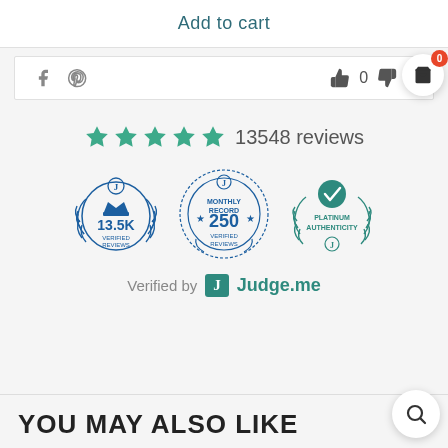Add to cart
[Figure (infographic): Social share icons (Facebook, Pinterest) with thumbs up count 0 and thumbs down count 0]
[Figure (infographic): Five gold/teal stars followed by '13548 reviews' text, then three Judge.me badge circles: 13.5K Verified Reviews, Monthly Record 250 Verified Reviews, Platinum Authenticity. 'Verified by Judge.me' label below.]
YOU MAY ALSO LIKE